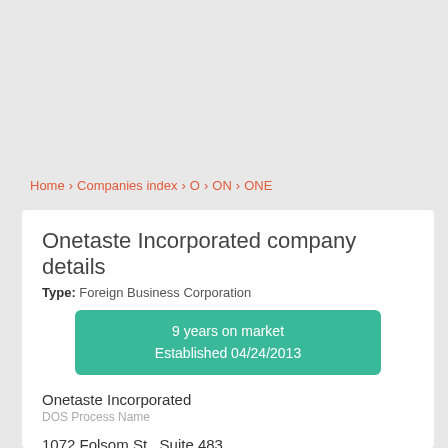Home > Companies index > O > ON > ONE
Onetaste Incorporated company details
Type: Foreign Business Corporation
9 years on market
Established 04/24/2013
Onetaste Incorporated
DOS Process Name
1072 Folsom St., Suite 483
DOS Process Address
San Francisco